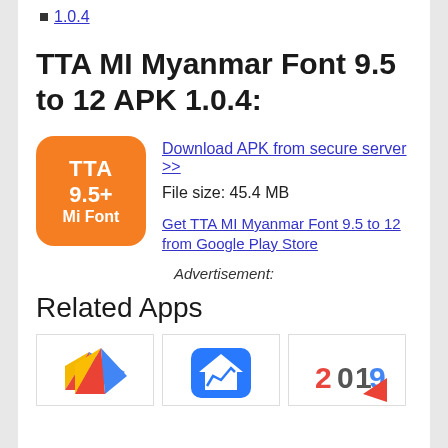1.0.4
TTA MI Myanmar Font 9.5 to 12 APK 1.0.4:
[Figure (logo): Orange rounded square app icon with white text: TTA 9.5+ Mi Font]
Download APK from secure server >>
File size: 45.4 MB
Get TTA MI Myanmar Font 9.5 to 12 from Google Play Store
Advertisement:
Related Apps
[Figure (illustration): Three app card icons in a row at the bottom of the page]